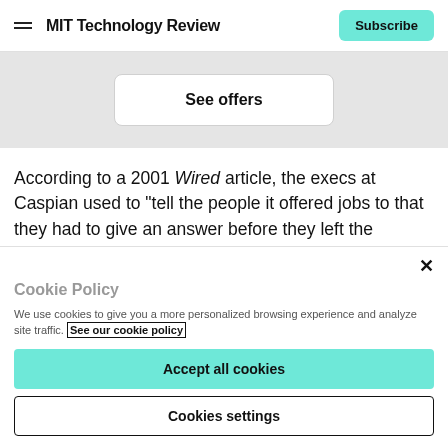MIT Technology Review | Subscribe
[Figure (screenshot): Gray banner area with a white 'See offers' button]
According to a 2001 Wired article, the execs at Caspian used to “tell the people it offered jobs to that they had to give an answer before they left the building. Caspian says
Cookie Policy
We use cookies to give you a more personalized browsing experience and analyze site traffic. See our cookie policy
Accept all cookies
Cookies settings